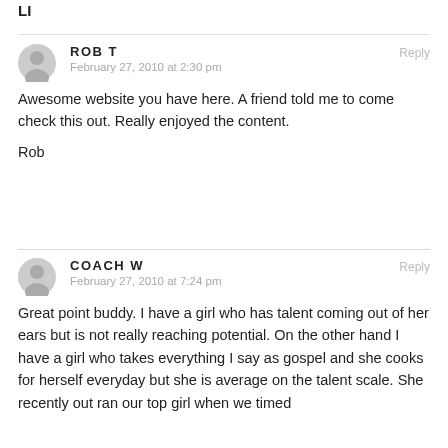LI
ROB T
February 27, 2010 at 2:30 pm
Reply
Awesome website you have here. A friend told me to come check this out. Really enjoyed the content.

Rob
COACH W
February 27, 2010 at 7:24 pm
Reply
Great point buddy. I have a girl who has talent coming out of her ears but is not really reaching potential. On the other hand I have a girl who takes everything I say as gospel and she cooks for herself everyday but she is average on the talent scale. She recently out ran our top girl when we timed